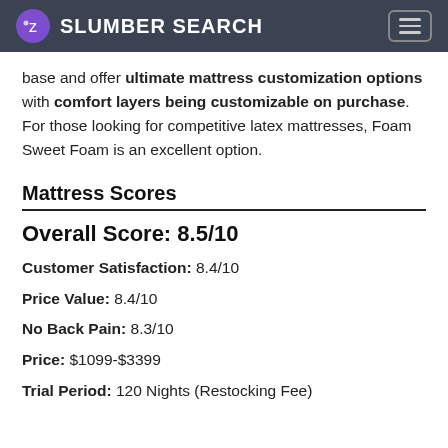SLUMBER SEARCH
base and offer ultimate mattress customization options with comfort layers being customizable on purchase. For those looking for competitive latex mattresses, Foam Sweet Foam is an excellent option.
Mattress Scores
Overall Score: 8.5/10
Customer Satisfaction: 8.4/10
Price Value: 8.4/10
No Back Pain: 8.3/10
Price: $1099-$3399
Trial Period: 120 Nights (Restocking Fee)